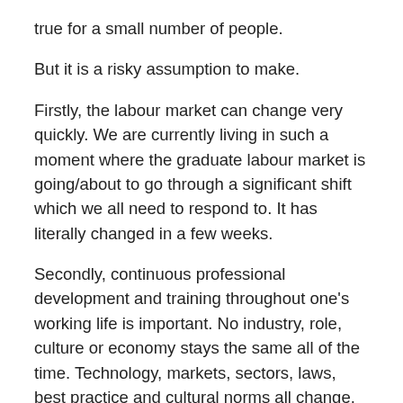true for a small number of people.
But it is a risky assumption to make.
Firstly, the labour market can change very quickly. We are currently living in such a moment where the graduate labour market is going/about to go through a significant shift which we all need to respond to. It has literally changed in a few weeks.
Secondly, continuous professional development and training throughout one’s working life is important. No industry, role, culture or economy stays the same all of the time. Technology, markets, sectors, laws, best practice and cultural norms all change. Knowledge can go out of date very quickly. What was adequate or up-to-date knowledge when someone applies for, or starts, their degree may no longer be entirely accurate or